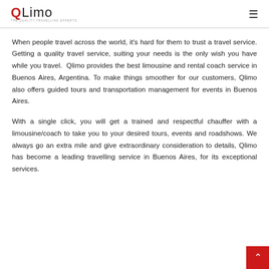QLimo - THE QUALITY TRAVELLING EXPERTS
When people travel across the world, it's hard for them to trust a travel service. Getting a quality travel service, suiting your needs is the only wish you have while you travel. Qlimo provides the best limousine and rental coach service in Buenos Aires, Argentina. To make things smoother for our customers, Qlimo also offers guided tours and transportation management for events in Buenos Aires.
With a single click, you will get a trained and respectful chauffer with a limousine/coach to take you to your desired tours, events and roadshows. We always go an extra mile and give extraordinary consideration to details, Qlimo has become a leading travelling service in Buenos Aires, for its exceptional services.